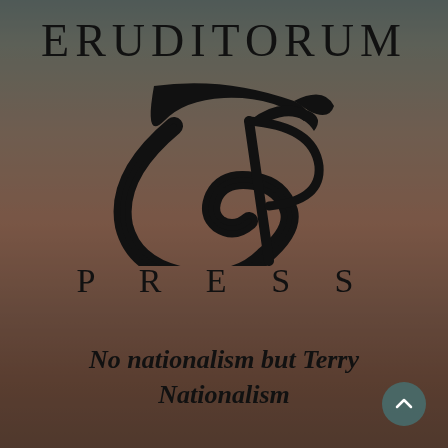ERUDITORUM
[Figure (logo): Eruditorum Press stylized 'EP' logo in black calligraphic script with sweeping curves]
P R E S S
No nationalism but Terry Nationalism